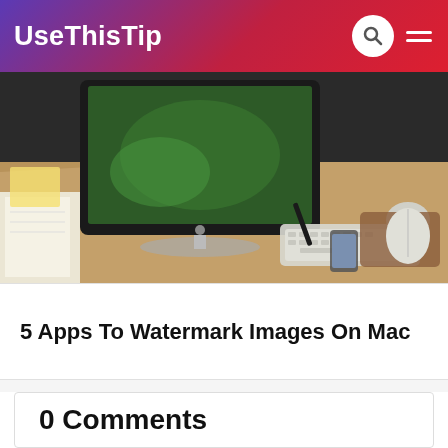UseThisTip
[Figure (photo): A Mac desktop computer on a wooden desk with keyboard, mouse, pen and a smartphone]
5 Apps To Watermark Images On Mac
0 Comments